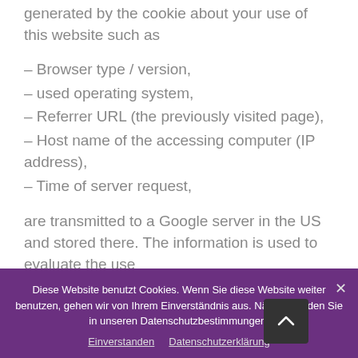generated by the cookie about your use of this website such as
– Browser type / version,
– used operating system,
– Referrer URL (the previously visited page),
– Host name of the accessing computer (IP address),
– Time of server request,
are transmitted to a Google server in the US and stored there. The information is used to evaluate the use
Diese Website benutzt Cookies. Wenn Sie diese Website weiter benutzen, gehen wir von Ihrem Einverständnis aus. Näheres finden Sie in unseren Datenschutzbestimmungen.
Einverstanden  Datenschutzerklärung